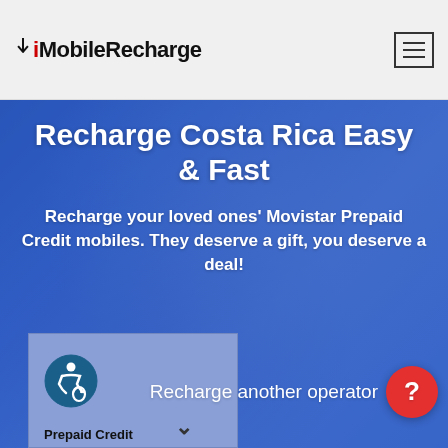MobileRecharge
Recharge Costa Rica Easy & Fast
Recharge your loved ones' Movistar Prepaid Credit mobiles. They deserve a gift, you deserve a deal!
Prepaid Credit
Recharge another operator